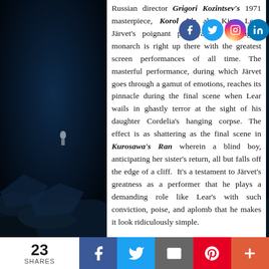[Figure (photo): Dark blue/black background scene with rocky lunar or alien landscape, a small figure in the distance on the left, and a figure in a spacesuit/dark costume visible on the right side]
Russian director Grigori Kozintsev's 1971 masterpiece, Korol Lir aka King Lear. Järvet's poignant portrayal of the aging monarch is right up there with the greatest screen performances of all time. The masterful performance, during which Järvet goes through a gamut of emotions, reaches its pinnacle during the final scene when Lear wails in ghastly terror at the sight of his daughter Cordelia's hanging corpse. The effect is as shattering as the final scene in Kurosawa's Ran wherein a blind boy, anticipating her sister's return, all but falls off the edge of a cliff.  It's a testament to Järvet's greatness as a performer that he plays a demanding role like Lear's with such conviction, poise, and aplomb that he makes it look ridiculously simple.
[Figure (infographic): Social share icons: Facebook (blue circle), Twitter (light blue circle), Instagram (gradient circle), LinkedIn (blue circle)]
23 SHARES | Facebook share | Twitter share | Email share | Pinterest share | More